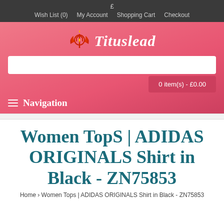£  Wish List (0)  My Account  Shopping Cart  Checkout
[Figure (logo): Tituslead logo with red trident/flame icon and white italic text 'Tituslead' on pink background]
0 item(s) - £0.00
≡ Navigation
Women Tops | ADIDAS ORIGINALS Shirt in Black - ZN75853
Home › Women Tops | ADIDAS ORIGINALS Shirt in Black - ZN75853